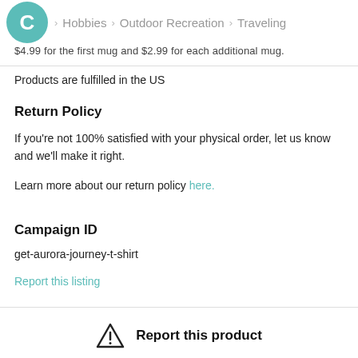C > Hobbies > Outdoor Recreation > Traveling
$4.99 for the first mug and $2.99 for each additional mug.
Products are fulfilled in the US
Return Policy
If you're not 100% satisfied with your physical order, let us know and we'll make it right.
Learn more about our return policy here.
Campaign ID
get-aurora-journey-t-shirt
Report this listing
Report this product